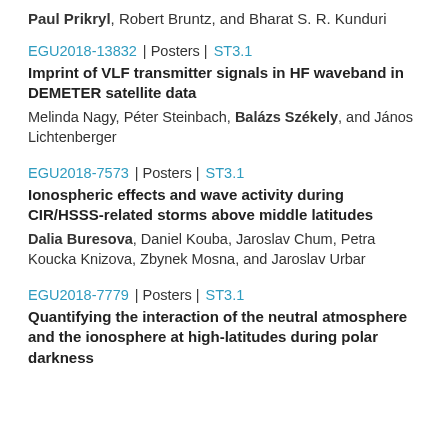Paul Prikryl, Robert Bruntz, and Bharat S. R. Kunduri
EGU2018-13832 | Posters | ST3.1
Imprint of VLF transmitter signals in HF waveband in DEMETER satellite data
Melinda Nagy, Péter Steinbach, Balázs Székely, and János Lichtenberger
EGU2018-7573 | Posters | ST3.1
Ionospheric effects and wave activity during CIR/HSSS-related storms above middle latitudes
Dalia Buresova, Daniel Kouba, Jaroslav Chum, Petra Koucka Knizova, Zbynek Mosna, and Jaroslav Urbar
EGU2018-7779 | Posters | ST3.1
Quantifying the interaction of the neutral atmosphere and the ionosphere at high-latitudes during polar darkness